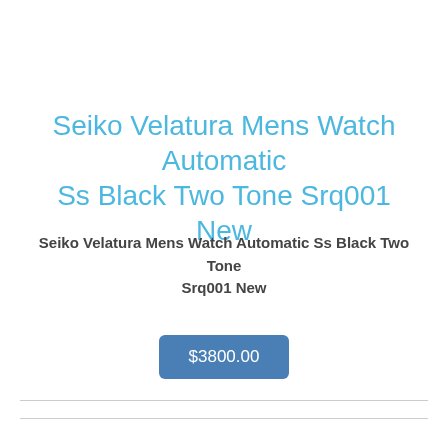Seiko Velatura Mens Watch Automatic Ss Black Two Tone Srq001 New
Seiko Velatura Mens Watch Automatic Ss Black Two Tone Srq001 New
$3800.00